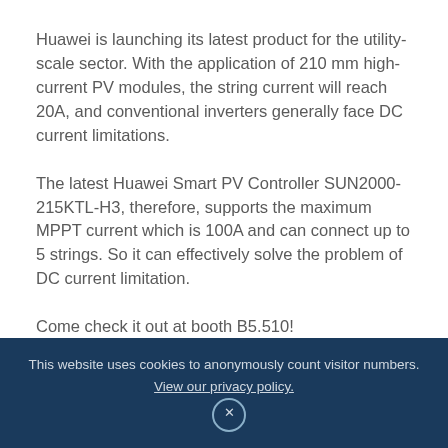Huawei is launching its latest product for the utility-scale sector. With the application of 210 mm high-current PV modules, the string current will reach 20A, and conventional inverters generally face DC current limitations.
The latest Huawei Smart PV Controller SUN2000-215KTL-H3, therefore, supports the maximum MPPT current which is 100A and can connect up to 5 strings. So it can effectively solve the problem of DC current limitation.
Come check it out at booth B5.510!
This website uses cookies to anonymously count visitor numbers. View our privacy policy. ×